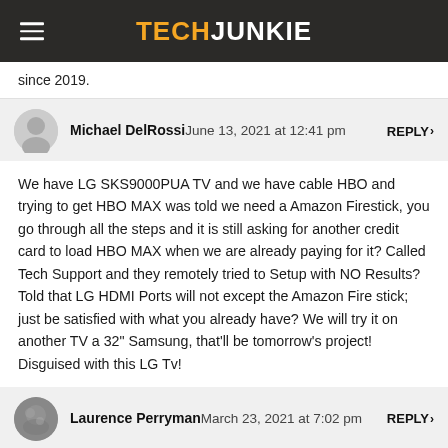TECHJUNKIE
since 2019.
Michael DelRossi June 13, 2021 at 12:41 pm   REPLY
We have LG SKS9000PUA TV and we have cable HBO and trying to get HBO MAX was told we need a Amazon Firestick, you go through all the steps and it is still asking for another credit card to load HBO MAX when we are already paying for it? Called Tech Support and they remotely tried to Setup with NO Results? Told that LG HDMI Ports will not except the Amazon Fire stick; just be satisfied with what you already have? We will try it on another TV a 32" Samsung, that'll be tomorrow's project! Disguised with this LG Tv!
Laurence Perryman March 23, 2021 at 7:02 pm   REPLY